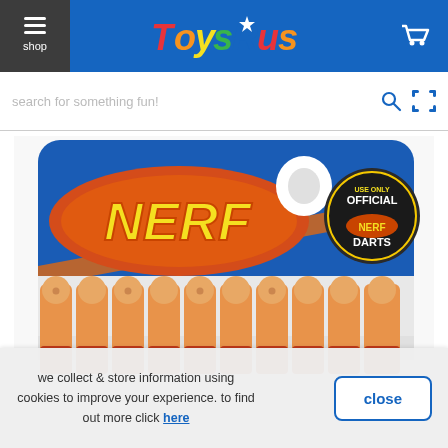Toys R Us — shop
search for something fun!
[Figure (photo): Nerf Official Darts product packaging showing 10 red and orange foam darts in a blister pack with blue Nerf branding and 'Use Only Official Nerf Darts' badge]
we collect & store information using cookies to improve your experience. to find out more click here